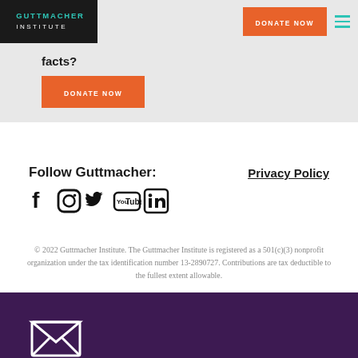GUTTMACHER INSTITUTE
facts?
DONATE NOW
Follow Guttmacher:
Privacy Policy
[Figure (infographic): Social media icons: Facebook, Instagram, Twitter, YouTube, LinkedIn]
© 2022 Guttmacher Institute. The Guttmacher Institute is registered as a 501(c)(3) nonprofit organization under the tax identification number 13-2890727. Contributions are tax deductible to the fullest extent allowable.
[Figure (infographic): Email/envelope icon on dark purple background at bottom of page]